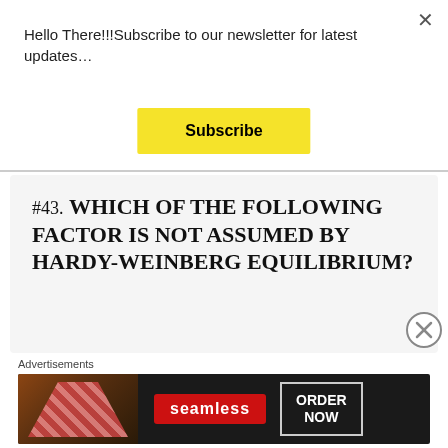Hello There!!!Subscribe to our newsletter for latest updates…
Subscribe
#43. Which of the following factor is not assumed by Hardy-Weinberg equilibrium?
The population is infinitely large.
No mutation
[Figure (screenshot): Seamless food delivery advertisement banner with pizza image, seamless logo, and ORDER NOW button]
Advertisements